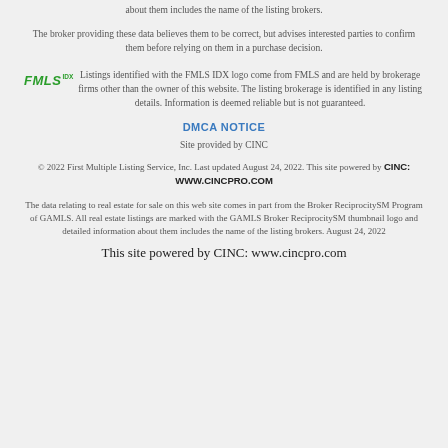about them includes the name of the listing brokers.
The broker providing these data believes them to be correct, but advises interested parties to confirm them before relying on them in a purchase decision.
[Figure (logo): FMLS IDX logo in green italic bold font with IDX superscript]
Listings identified with the FMLS IDX logo come from FMLS and are held by brokerage firms other than the owner of this website. The listing brokerage is identified in any listing details. Information is deemed reliable but is not guaranteed.
DMCA NOTICE
Site provided by CINC
© 2022 First Multiple Listing Service, Inc. Last updated August 24, 2022. This site powered by CINC: WWW.CINCPRO.COM
The data relating to real estate for sale on this web site comes in part from the Broker ReciprocitySM Program of GAMLS. All real estate listings are marked with the GAMLS Broker ReciprocitySM thumbnail logo and detailed information about them includes the name of the listing brokers. August 24, 2022
This site powered by CINC: www.cincpro.com